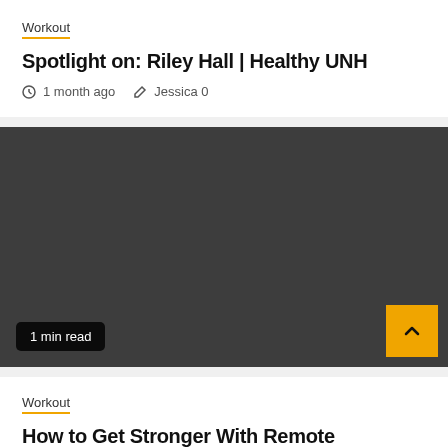Workout
Spotlight on: Riley Hall | Healthy UNH
1 month ago   Jessica 0
[Figure (photo): Dark gray placeholder image block for article thumbnail with 1 min read badge and scroll-to-top button]
Workout
How to Get Stronger With Remote Voluntary